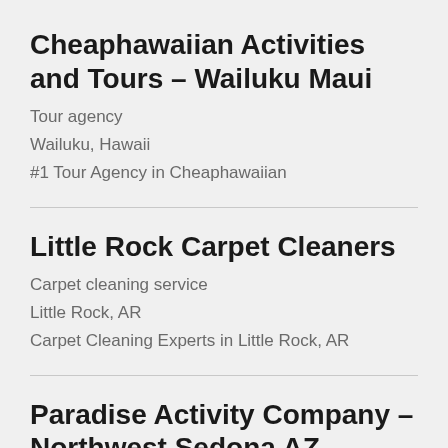Cheaphawaiian Activities and Tours – Wailuku Maui
Tour agency
Wailuku, Hawaii
#1 Tour Agency in Cheaphawaiian
Little Rock Carpet Cleaners
Carpet cleaning service
Little Rock, AR
Carpet Cleaning Experts in Little Rock, AR
Paradise Activity Company – Northwest Sedona AZ